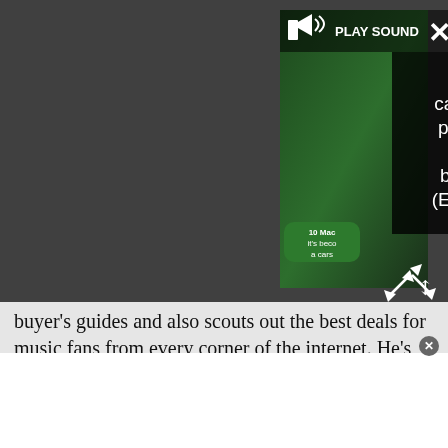[Figure (screenshot): Video player overlay showing 'Video cannot be played in this browser. (Error Cod' with a speaker/sound icon and 'PLAY SOUND' text, close button (×) top right, expand icon bottom right. Background shows partial video thumbnails.]
buyer's guides and also scouts out the best deals for music fans from every corner of the internet. He's spent more than 28 years in newspapers and magazines as an editor, production editor, sub-editor, designer, writer and reviewer. Scott joined our news desk in the summer of 2014, where he wrote extensively about rock, metal, prog and more, before moving to the eCommerce team full-time in 2020. Scott has previous written for publications including IGN, Sunday Mirror, Daily